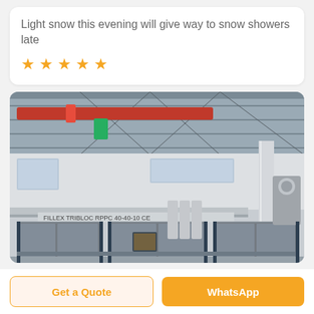Light snow this evening will give way to snow showers late
[Figure (other): Five orange star rating icons]
[Figure (photo): Interior of an industrial factory showing a FILLEX TRIBLOC RPPC 40-40-10 bottling/filling machine with glass enclosures, stainless steel equipment, overhead red crane rail, and metal roof structure.]
Get a Quote
WhatsApp